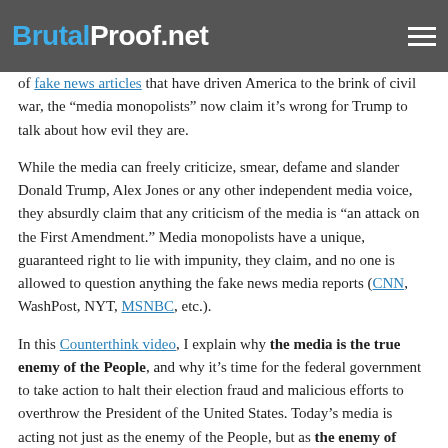BrutalProof.net
of fake news articles that have driven America to the brink of civil war, the “media monopolists” now claim it’s wrong for Trump to talk about how evil they are.
While the media can freely criticize, smear, defame and slander Donald Trump, Alex Jones or any other independent media voice, they absurdly claim that any criticism of the media is “an attack on the First Amendment.” Media monopolists have a unique, guaranteed right to lie with impunity, they claim, and no one is allowed to question anything the fake news media reports (CNN, WashPost, NYT, MSNBC, etc.).
In this Counterthink video, I explain why the media is the true enemy of the People, and why it’s time for the federal government to take action to halt their election fraud and malicious efforts to overthrow the President of the United States. Today’s media is acting not just as the enemy of the People, but as the enemy of America. So-called “journalists” are actually seditious traitors trying to carry